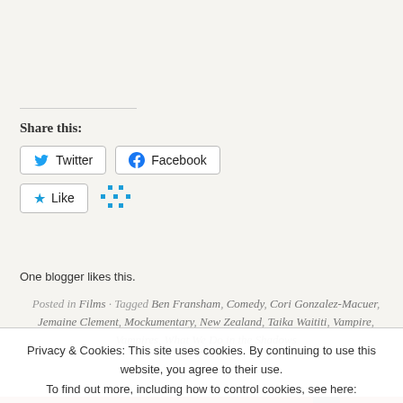Share this:
[Figure (screenshot): Twitter and Facebook share buttons, and a Like button with dots icon, showing 'One blogger likes this.']
One blogger likes this.
Posted in Films · Tagged Ben Fransham, Comedy, Cori Gonzalez-Macuer, Jemaine Clement, Mockumentary, New Zealand, Taika Waititi, Vampire, Vampires, What We Do in the Shadows
Privacy & Cookies: This site uses cookies. By continuing to use this website, you agree to their use. To find out more, including how to control cookies, see here: Cookie Policy
Close and accept